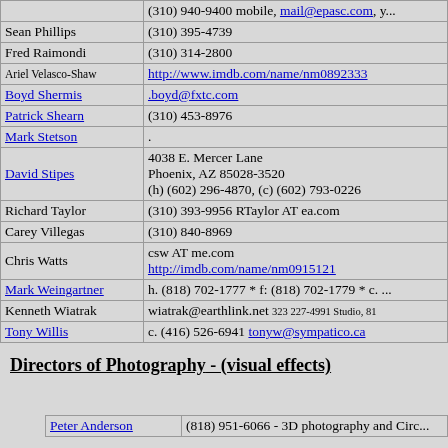| Name | Contact |
| --- | --- |
| [Eric Pardum] | (310) 940-9400 mobile, mail@epasc.com, ... |
| Sean Phillips | (310) 395-4739 |
| Fred Raimondi | (310) 314-2800 |
| Ariel Velasco-Shaw | http://www.imdb.com/name/nm0892333 |
| Boyd Shermis | .boyd@fxtc.com |
| Patrick Shearn | (310) 453-8976 |
| Mark Stetson | . |
| David Stipes | 4038 E. Mercer Lane
Phoenix, AZ 85028-3520
(h) (602) 296-4870, (c) (602) 793-0226 |
| Richard Taylor | (310) 393-9956 RTaylor AT ea.com |
| Carey Villegas | (310) 840-8969 |
| Chris Watts | csw AT me.com
http://imdb.com/name/nm0915121 |
| Mark Weingartner | h. (818) 702-1777 * f: (818) 702-1779 * c. ... |
| Kenneth Wiatrak | wiatrak@earthlink.net  323 227-4991 Studio, 81... |
| Tony Willis | c. (416) 526-6941 tonyw@sympatico.ca |
Directors of Photography - (visual effects)
| Name | Contact |
| --- | --- |
| Peter Anderson | (818) 951-6066 - 3D photography and Circ... |